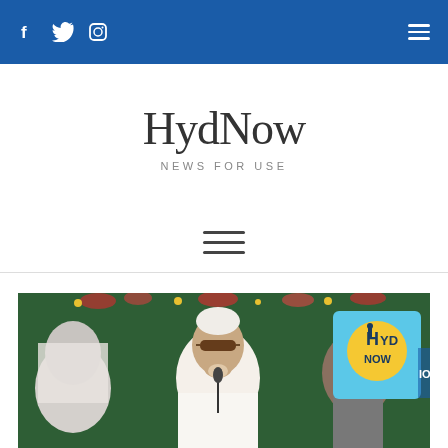HydNow - NEWS FOR USE - navigation bar with social icons and hamburger menu
HydNow
NEWS FOR USE
[Figure (other): Hamburger menu icon (three horizontal lines) in a white navigation bar]
[Figure (photo): Photo of a man in white kurta and sunglasses speaking at a microphone at a public event, with a banner and another person visible in the background. HydNow watermark logo overlaid in top-right corner.]